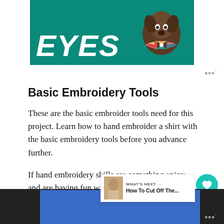[Figure (photo): Advertisement banner with teal/green background showing the word EYES in bold white italic text, and a dog wearing a colorful bowtie on the right side]
Basic Embroidery Tools
These are the basic embroider tools need for this project. Learn how to hand embroider a shirt with the basic embroidery tools before you advance further.
If hand embroidery skills are something you enjoy and are having fun with, then there are certain types of additional tools that can help you to the ba...
[Figure (screenshot): What's Next widget showing 'How To Cut Off The...' with thumbnail]
[Figure (screenshot): Bottom advertisement bar with blue background and ad watermark logo]